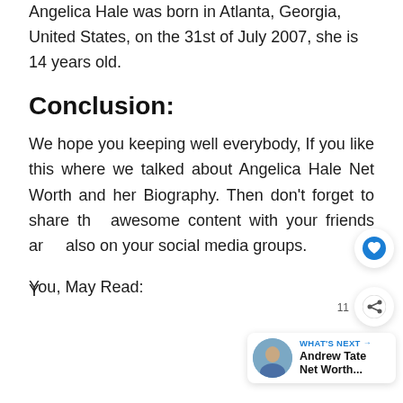Angelica Hale was born in Atlanta, Georgia, United States, on the 31st of July 2007, she is 14 years old.
Conclusion:
We hope you keeping well everybody, If you like this where we talked about Angelica Hale Net Worth and her Biography. Then don't forget to share this awesome content with your friends and also on your social media groups.
You, May Read: